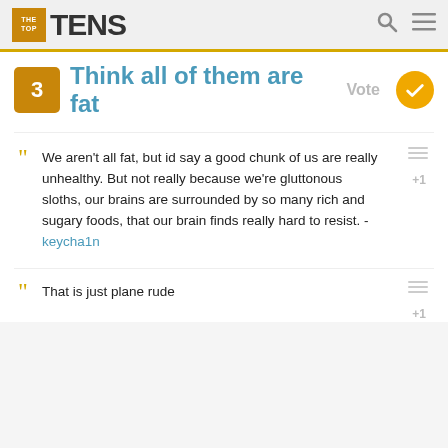THE TOP TENS
3 Think all of them are fat Vote
We aren't all fat, but id say a good chunk of us are really unhealthy. But not really because we're gluttonous sloths, our brains are surrounded by so many rich and sugary foods, that our brain finds really hard to resist. - keycha1n
That is just plane rude